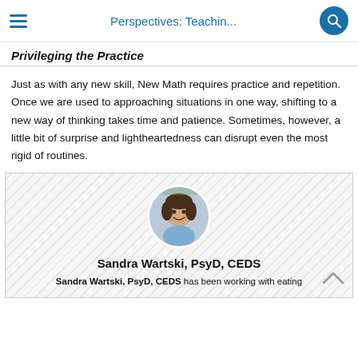Perspectives: Teachin...
Privileging the Practice
Just as with any new skill, New Math requires practice and repetition. Once we are used to approaching situations in one way, shifting to a new way of thinking takes time and patience. Sometimes, however, a little bit of surprise and lightheartedness can disrupt even the most rigid of routines.
[Figure (photo): Circular portrait photo of Sandra Wartski, PsyD, CEDS]
Sandra Wartski, PsyD, CEDS
Sandra Wartski, PsyD, CEDS has been working with eating